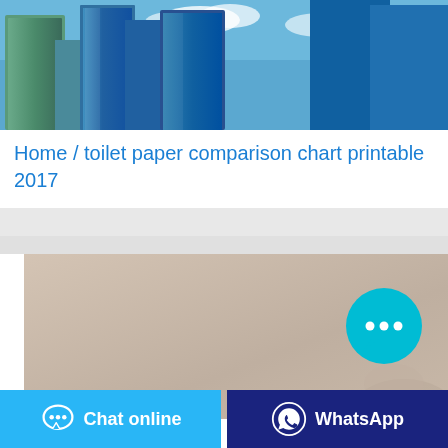[Figure (photo): City skyline with tall glass skyscrapers against a blue sky with clouds]
Home / toilet paper comparison chart printable 2017
[Figure (photo): Beige/tan background image with a chat bubble floating button (cyan circle with three dots) and partial view of a person at the bottom right]
[Figure (other): Chat online button with speech bubble icon on cyan background]
[Figure (other): WhatsApp button with WhatsApp icon on dark blue background]